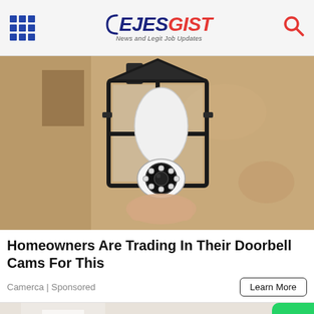EJESGIST — News and Legit Job Updates
[Figure (photo): A hand installing a bulb-shaped security camera into an outdoor lantern wall fixture mounted on a textured beige stucco wall]
Homeowners Are Trading In Their Doorbell Cams For This
Camerca | Sponsored
[Figure (photo): Partial view of a person in white clothing and teal gloves, partially obscured by a green WhatsApp button overlay in the lower right]